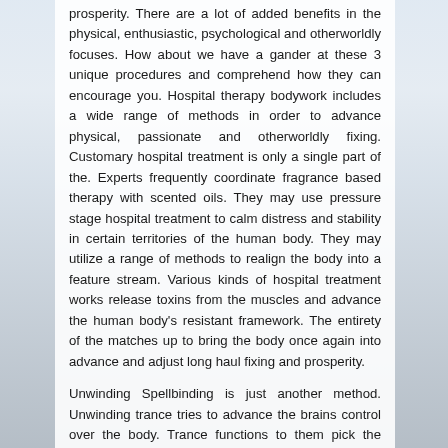prosperity. There are a lot of added benefits in the physical, enthusiastic, psychological and otherworldly focuses. How about we have a gander at these 3 unique procedures and comprehend how they can encourage you. Hospital therapy bodywork includes a wide range of methods in order to advance physical, passionate and otherworldly fixing. Customary hospital treatment is only a single part of the. Experts frequently coordinate fragrance based therapy with scented oils. They may use pressure stage hospital treatment to calm distress and stability in certain territories of the human body. They may utilize a range of methods to realign the body into a feature stream. Various kinds of hospital treatment works release toxins from the muscles and advance the human body's resistant framework. The entirety of the matches up to bring the body once again into advance and adjust long haul fixing and prosperity.
Unwinding Spellbinding is just another method. Unwinding trance tries to advance the brains control over the body. Trance functions to them pick the mind into a deeply loosened